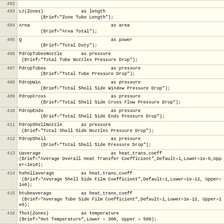| line | code |
| --- | --- |
| 402 |  |
| 403 | Lz(Zones)              as length
        (Brief="Zone Tube Length"); |
| 404 | Area                              as area
        (Brief="Area Total"); |
| 405 | Q                                 as power
        (Brief="Total Duty"); |
| 406 | PdropTubesNozzle       as pressure
 (Brief="Total Tube Nozzles Pressure Drop"); |
| 407 | PdropTubes                        as pressure
        (Brief="Total Tube Pressure Drop"); |
| 408 | PdropWin                          as pressure
        (Brief="Total Shell Side Window Pressure Drop"); |
| 409 | PdropCross                        as pressure
        (Brief="Total Shell Side Cross Flow Pressure Drop"); |
| 410 | PdropEnds                         as pressure
        (Brief="Total Shell Side Ends Pressure Drop"); |
| 411 | PdropShellNozzle       as pressure
 (Brief="Total Shell Side Nozzles Pressure Drop"); |
| 412 | PdropShell                        as pressure
        (Brief="Total Shell Side Pressure Drop"); |
| 413 | Uaverage                          as heat_trans_coeff
(Brief="Average Overall Heat Transfer Coefficient",Default=1,Lower=1e-6,Upper=1e10); |
| 414 | hshellaverage          as heat_trans_coeff
 (Brief="Average Shell Side Film Coefficient",Default=1,Lower=1e-12, Upper=1e6); |
| 415 | htubeaverage           as heat_trans_coeff
 (Brief="Average Tube Side Film Coefficient",Default=1,Lower=1e-12, Upper=1e6); |
| 416 | Thot(Zones)            as temperature
(Brief="Hot Temperature",Lower = 300, Upper = 500); |
| 417 | Tcold(Zones)           as temperature
(Brief="Cold Temperature",Lower = 300, Upper = 500); |
| 418 | Thot(Zones) |  |